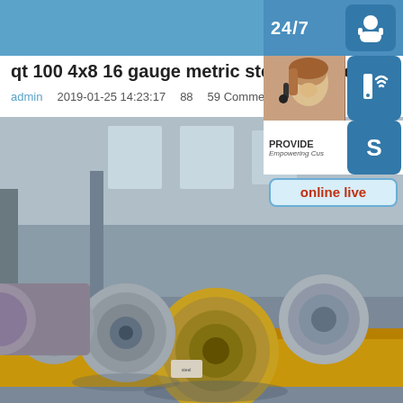qt 100 4x8 16 gauge metric steel thickness
admin  2019-01-25 14:23:17  88  59 Comment
[Figure (photo): Steel coils stored in an industrial warehouse, multiple large rolled steel coils on yellow pallets]
[Figure (infographic): Customer service sidebar with 24/7 support icon, phone icon, Skype icon, provide text, and online live button]